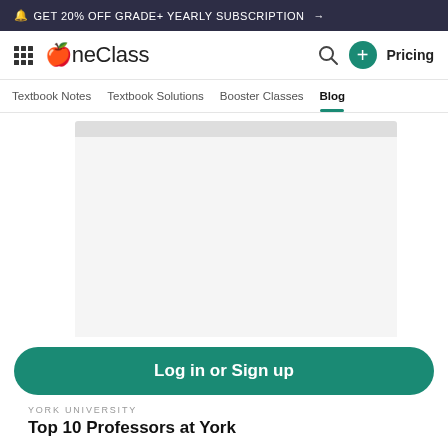🔔 GET 20% OFF GRADE+ YEARLY SUBSCRIPTION →
[Figure (logo): OneClass logo with grid icon and apple icon]
Pricing
Textbook Notes   Textbook Solutions   Booster Classes   Blog
[Figure (photo): Placeholder image block for a blog article thumbnail]
Log in or Sign up
YORK UNIVERSITY
Top 10 Professors at York